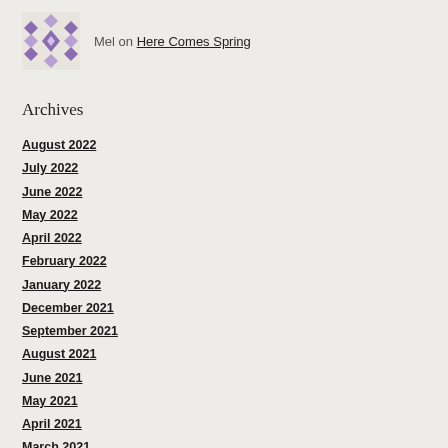Mel on Here Comes Spring
Archives
August 2022
July 2022
June 2022
May 2022
April 2022
February 2022
January 2022
December 2021
September 2021
August 2021
June 2021
May 2021
April 2021
March 2021
February 2021